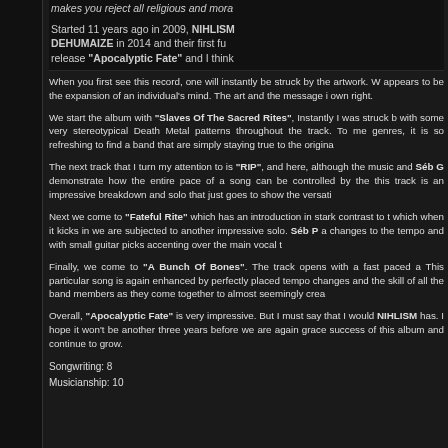makes you reject all religious and mora
Started 11 years ago in 2009, NIHLISM DEHUMAIZE in 2014 and their first fu release "Apocalyptic Fate" and I think
When you first see this record, one will instantly be struck by the artwork. W appears to be the expansion of an individual's mind. The art and the message i own right.
We start the album with "Slaves Of The Sacred Rites", Instantly I was struck b with some very stereotypical Death Metal patterns throughout the track. To me genres, it is so refreshing to find a band that are simply staying true to the origina
The next track that I turn my attention to is "RIP", and here, although the music and Séb G demonstrate how the entire pace of a song can be controlled by the this track is an impressive breakdown and solo that just goes to show the versati
Next we come to "Fateful Rite" which has an introduction in stark contrast to t which when it kicks in we are subjected to another impressive solo. Séb P a changes to the tempo and with small guitar picks accenting over the main vocal t
Finally, we come to "A Bunch Of Bones". The track opens with a fast paced a This particular song is again enhanced by perfectly placed tempo changes and the skill of all the band members as they come together to almost seemingly crea
Overall, "Apocalyptic Fate" is very impressive. But I must say that I would NIHLISM has. I hope it won't be another three years before we are again grace success of this album and continue to grow.
Songwriting: 8
Musicianship: 10